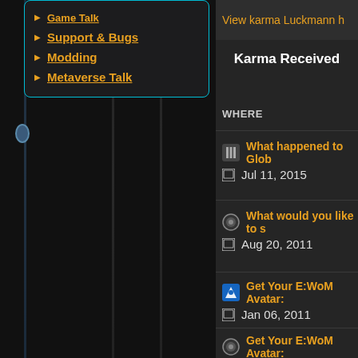Support & Bugs
Modding
Metaverse Talk
View karma Luckmann h
Karma Received
WHERE
What happened to Glob
Jul 11, 2015
What would you like to s
Aug 20, 2011
Get Your E:WoM Avatar:
Jan 06, 2011
Get Your E:WoM Avatar:
Oct 28, 2010